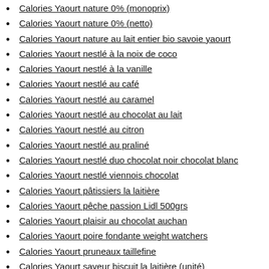Calories Yaourt nature 0% (monoprix)
Calories Yaourt nature 0% (netto)
Calories Yaourt nature au lait entier bio savoie yaourt
Calories Yaourt nestlé à la noix de coco
Calories Yaourt nestlé à la vanille
Calories Yaourt nestlé au café
Calories Yaourt nestlé au caramel
Calories Yaourt nestlé au chocolat au lait
Calories Yaourt nestlé au citron
Calories Yaourt nestlé au praliné
Calories Yaourt nestlé duo chocolat noir chocolat blanc
Calories Yaourt nestlé viennois chocolat
Calories Yaourt pâtissiers la laitière
Calories Yaourt pêche passion Lidl 500grs
Calories Yaourt plaisir au chocolat auchan
Calories Yaourt poire fondante weight watchers
Calories Yaourt pruneaux taillefine
Calories Yaourt saveur biscuit la laitière (unité)
Calories Yaourt senjà ananas-passion
Calories Yaourt senjà chocolat
Calories Yaourt soja chocolat carrefour (specialité végétale)
Calories Yaourt sur lit de châtaigne Auchan BIO